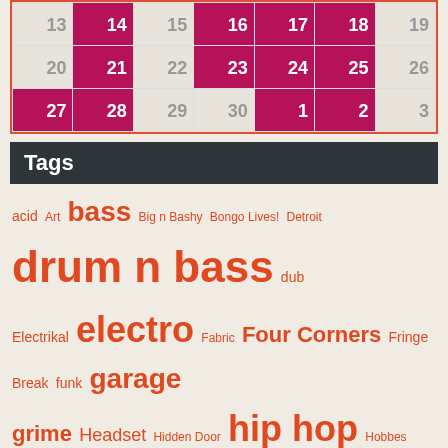| 13 | 14 | 15 | 16 | 17 | 18 | 19 |
| 20 | 21 | 22 | 23 | 24 | 25 | 26 |
| 27 | 28 | 29 | 30 | 1 | 2 | 3 |
Tags
acid Art bass Big n Bashy Bongo Lives! Detroit drum n bass dub Electrikal electro Fabric Four Corners Fringe Break funk garage grime Headset Hidden Door hip hop Hobbes Music house Hullabaloo I Love Hip Hop interview jungle Kate Tempest live Messenger Mumbo Jumbo New Zealand out of the blue Rally & Broad Rap rave reggae Resident Advisor soul Spoken Word Substance Summer Holidays techno The Correspondents UKG UK Garage video
Gallery